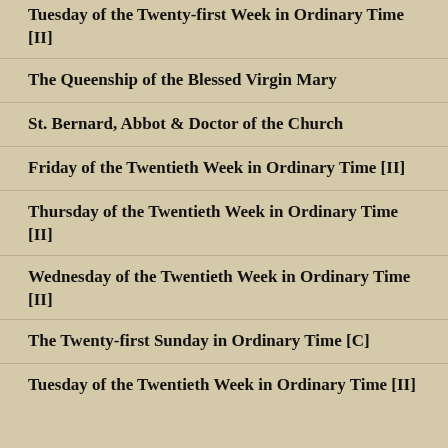Tuesday of the Twenty-first Week in Ordinary Time [II]
The Queenship of the Blessed Virgin Mary
St. Bernard, Abbot & Doctor of the Church
Friday of the Twentieth Week in Ordinary Time [II]
Thursday of the Twentieth Week in Ordinary Time [II]
Wednesday of the Twentieth Week in Ordinary Time [II]
The Twenty-first Sunday in Ordinary Time [C]
Tuesday of the Twentieth Week in Ordinary Time [II]